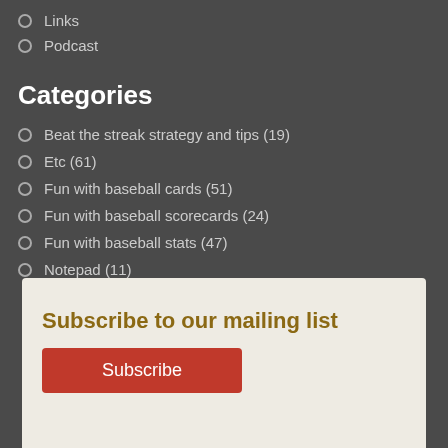Links
Podcast
Categories
Beat the streak strategy and tips (19)
Etc (61)
Fun with baseball cards (51)
Fun with baseball scorecards (24)
Fun with baseball stats (47)
Notepad (11)
Subscribe to our mailing list
Subscribe